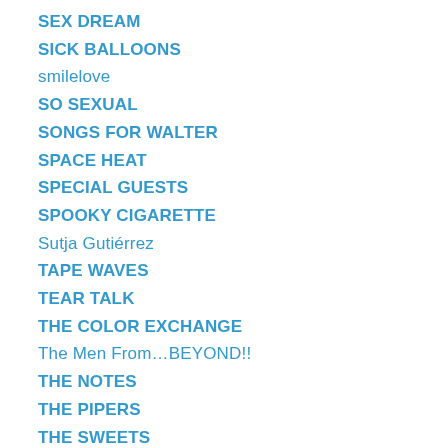SEX DREAM
SICK BALLOONS
smilelove
SO SEXUAL
SONGS FOR WALTER
SPACE HEAT
SPECIAL GUESTS
SPOOKY CIGARETTE
Sutja Gutiérrez
TAPE WAVES
TEAR TALK
THE COLOR EXCHANGE
The Men From…BEYOND!!
THE NOTES
THE PIPERS
THE SWEETS
THUNDEREGG
TIM CHAPLIN
TRISTEN
TYRANNOSAURUS DEAD